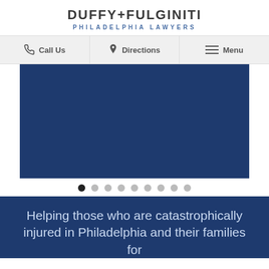DUFFY+FULGINITI PHILADELPHIA LAWYERS
Call Us | Directions | Menu
[Figure (screenshot): Hero image slider area showing a blue slide with white side panels and dot navigation indicators (9 dots, first dot active/filled)]
Helping those who are catastrophically injured in Philadelphia and their families for